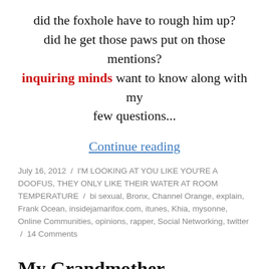did the foxhole have to rough him up?
did he get those paws put on those mentions?
inquiring minds want to know along with my few questions...
Continue reading
July 16, 2012 / I'M LOOKING AT YOU LIKE YOU'RE A DOOFUS, THEY ONLY LIKE THEIR WATER AT ROOM TEMPERATURE / bi sexual, Bronx, Channel Orange, explain, Frank Ocean, insidejamarifox.com, itunes, Khia, mysonne, Online Communities, opinions, rapper, Social Networking, twitter / 14 Comments
My Grandmother